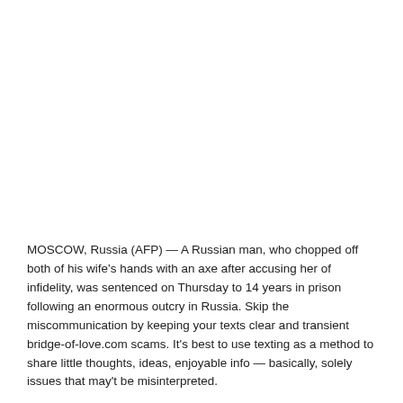MOSCOW, Russia (AFP) — A Russian man, who chopped off both of his wife's hands with an axe after accusing her of infidelity, was sentenced on Thursday to 14 years in prison following an enormous outcry in Russia. Skip the miscommunication by keeping your texts clear and transient bridge-of-love.com scams. It's best to use texting as a method to share little thoughts, ideas, enjoyable info — basically, solely issues that may't be misinterpreted.
As an added bonus, exercise courses and exercise clubs generally